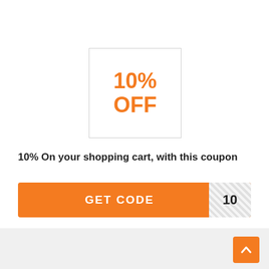[Figure (illustration): A white square box with a light gray border displaying '10% OFF' in large bold orange text.]
10% On your shopping cart, with this coupon
GET CODE  10
[Figure (other): Orange scroll-to-top button with an upward arrow chevron icon.]